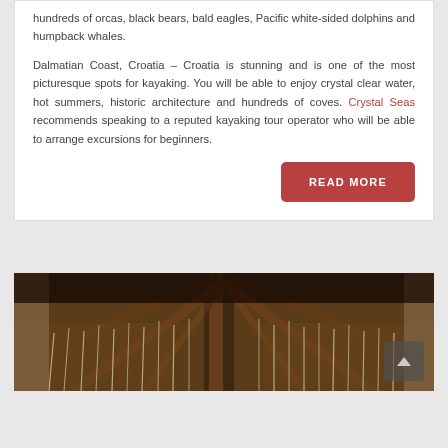hundreds of orcas, black bears, bald eagles, Pacific white-sided dolphins and humpback whales.
Dalmatian Coast, Croatia – Croatia is stunning and is one of the most picturesque spots for kayaking. You will be able to enjoy crystal clear water, hot summers, historic architecture and hundreds of coves. Crystal Seas recommends speaking to a reputed kayaking tour operator who will be able to arrange excursions for beginners.
READ MORE
[Figure (photo): Interior view of a thatched roof structure with wooden beams and hanging decorative elements, viewed from below.]